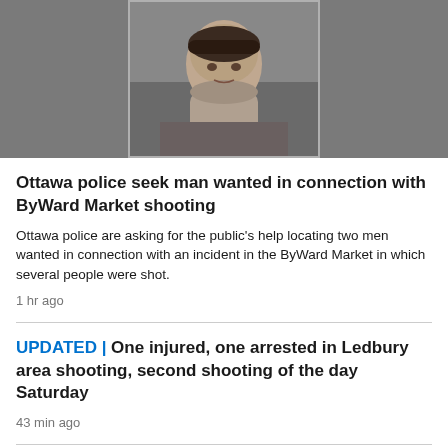[Figure (photo): Mugshot-style photo of a young man in a black shirt against a grey background, shown from shoulders up. Photo displayed with a lighter grey border/frame on a darker grey background.]
Ottawa police seek man wanted in connection with ByWard Market shooting
Ottawa police are asking for the public's help locating two men wanted in connection with an incident in the ByWard Market in which several people were shot.
1 hr ago
UPDATED | One injured, one arrested in Ledbury area shooting, second shooting of the day Saturday
43 min ago
What you need to know about today's Capital Pride Parade